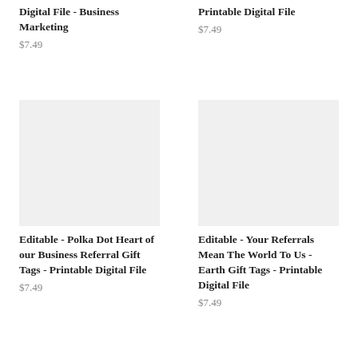Digital File - Business Marketing
$7.49
Printable Digital File
$7.49
[Figure (other): Product image placeholder – light gray rectangle]
Editable - Polka Dot Heart of our Business Referral Gift Tags - Printable Digital File
$7.49
[Figure (other): Product image placeholder – light gray rectangle]
Editable - Your Referrals Mean The World To Us - Earth Gift Tags - Printable Digital File
$7.49